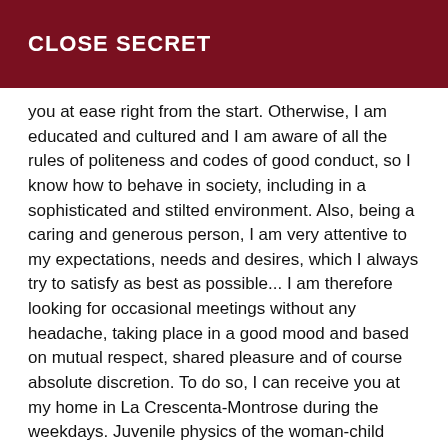CLOSE SECRET
you at ease right from the start. Otherwise, I am educated and cultured and I am aware of all the rules of politeness and codes of good conduct, so I know how to behave in society, including in a sophisticated and stilted environment. Also, being a caring and generous person, I am very attentive to my expectations, needs and desires, which I always try to satisfy as best as possible... I am therefore looking for occasional meetings without any headache, taking place in a good mood and based on mutual respect, shared pleasure and of course absolute discretion. To do so, I can receive you at my home in La Crescenta-Montrose during the weekdays. Juvenile physics of the woman-child type and a little lolita side with an alternative touch, I will immediately know how to seduce you. It would be a great pleasure to have a good time with you, so do not hesitate to contact me (preferably directly on my personal email address without going through the site):